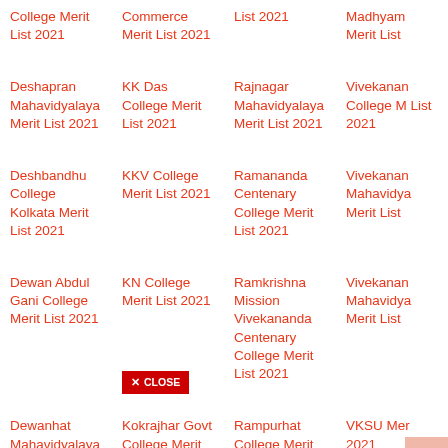College Merit List 2021
Commerce Merit List 2021
List 2021
Madhyam Merit List
Deshapran Mahavidyalaya Merit List 2021
KK Das College Merit List 2021
Rajnagar Mahavidyalaya Merit List 2021
Vivekanar College M List 2021
Deshbandhu College Kolkata Merit List 2021
KKV College Merit List 2021
Ramananda Centenary College Merit List 2021
Vivekanan Mahavidya Merit List
Dewan Abdul Gani College Merit List 2021
KN College Merit List 2021
Ramkrishna Mission Vivekananda Centenary College Merit List 2021
Vivekanan Mahavidya Merit List
Dewanhat Mahavidyalaya
Kokrajhar Govt College Merit List
Rampurhat College Merit
VKSU Mer 2021